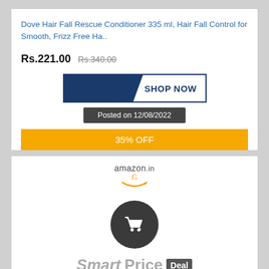Dove Hair Fall Rescue Conditioner 335 ml, Hair Fall Control for Smooth, Frizz Free Ha..
Rs.221.00  Rs.340.00
SHOP NOW
Posted on 12/08/2022
35% OFF
[Figure (logo): amazon.in logo with orange smile]
[Figure (illustration): Shopping cart icon in dark circle]
Smart Price Deal